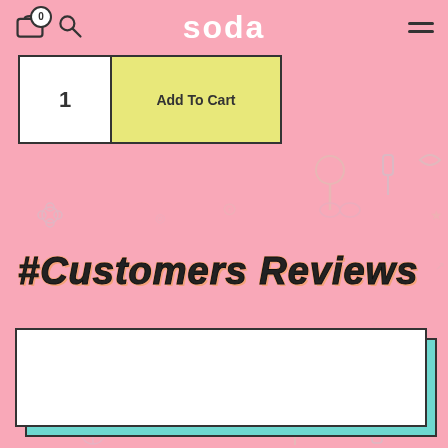soda — navigation bar with cart (0), search, and hamburger menu
[Figure (screenshot): Add To Cart button with quantity field showing '1', rendered in a white bordered box with yellow-green button]
#Customers Reviews
[Figure (other): Empty white review card with teal shadow offset, bordered in dark outline, on pink candy-themed background]